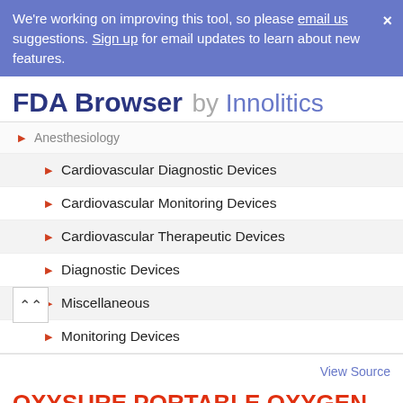We're working on improving this tool, so please email us suggestions. Sign up for email updates to learn about new features.
FDA Browser by Innolitics
Anesthesiology
Cardiovascular Diagnostic Devices
Cardiovascular Monitoring Devices
Cardiovascular Therapeutic Devices
Diagnostic Devices
Miscellaneous
Monitoring Devices
View Source
OXYSURE PORTABLE OXYGEN GENERATOR, MODEL 615
Page Type   Cleared 510(K)
PDF   FDA Hosted PDF